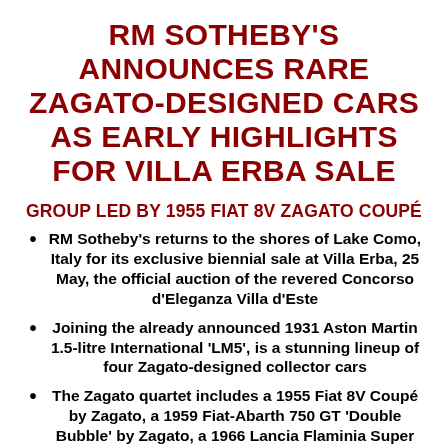RM SOTHEBY'S ANNOUNCES RARE ZAGATO-DESIGNED CARS AS EARLY HIGHLIGHTS FOR VILLA ERBA SALE
GROUP LED BY 1955 FIAT 8V ZAGATO COUPÉ
RM Sotheby's returns to the shores of Lake Como, Italy for its exclusive biennial sale at Villa Erba, 25 May, the official auction of the revered Concorso d'Eleganza Villa d'Este
Joining the already announced 1931 Aston Martin 1.5-litre International 'LM5', is a stunning lineup of four Zagato-designed collector cars
The Zagato quartet includes a 1955 Fiat 8V Coupé by Zagato, a 1959 Fiat-Abarth 750 GT 'Double Bubble' by Zagato, a 1966 Lancia Flaminia Super Sport 3C 2.8 by Zagato and a 2010 Aston Martin Vanquish Zagato Shooting